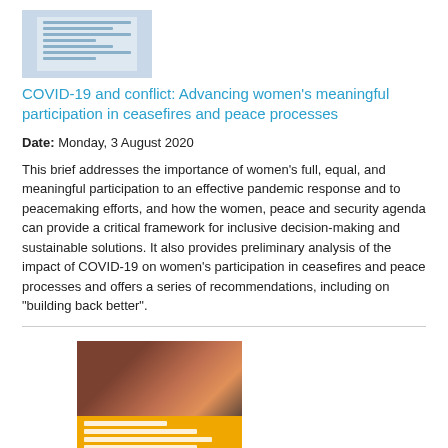[Figure (illustration): Thumbnail image of a document cover related to COVID-19 and conflict topic]
COVID-19 and conflict: Advancing women's meaningful participation in ceasefires and peace processes
Date: Monday, 3 August 2020
This brief addresses the importance of women's full, equal, and meaningful participation to an effective pandemic response and to peacemaking efforts, and how the women, peace and security agenda can provide a critical framework for inclusive decision-making and sustainable solutions. It also provides preliminary analysis of the impact of COVID-19 on women's participation in ceasefires and peace processes and offers a series of recommendations, including on "building back better".
[Figure (illustration): Book cover thumbnail showing young women with text 'YOUNG WOMEN IN PEACE AND SECURITY: AT THE INTERSECTION OF THE YPS AND WPS AGENDAS' on a gold/yellow background]
Young women in peace and security: At the intersection of the YPS